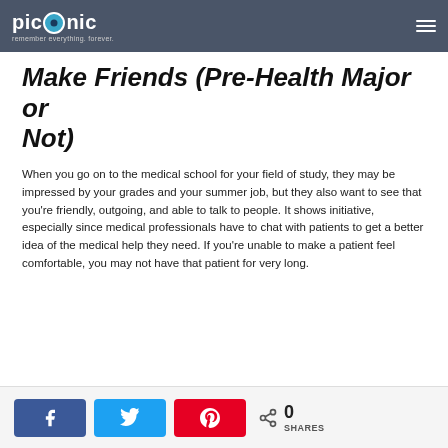Picmonic — remember everything. forever.
Make Friends (Pre-Health Major or Not)
When you go on to the medical school for your field of study, they may be impressed by your grades and your summer job, but they also want to see that you're friendly, outgoing, and able to talk to people. It shows initiative, especially since medical professionals have to chat with patients to get a better idea of the medical help they need. If you're unable to make a patient feel comfortable, you may not have that patient for very long.
0 SHARES